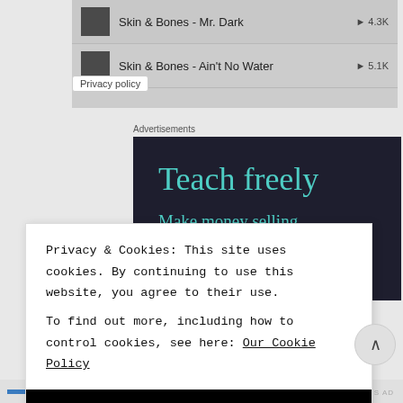[Figure (screenshot): Music player track listing showing two tracks: 'Skin & Bones - Mr. Dark' with play count 4.3K and 'Skin & Bones - Ain't No Water' with play count 5.1K, on a grey background]
Privacy policy
Advertisements
[Figure (screenshot): Advertisement banner with dark navy background showing 'Teach freely' in large teal serif font and 'Make money selling online courses.' in smaller teal serif font]
Privacy & Cookies: This site uses cookies. By continuing to use this website, you agree to their use.
To find out more, including how to control cookies, see here: Our Cookie Policy
CLOSE AND ACCEPT